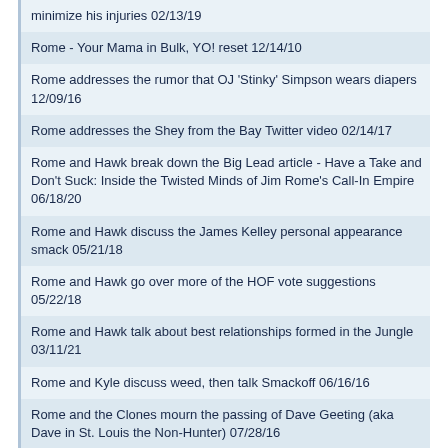minimize his injuries 02/13/19
Rome - Your Mama in Bulk, YO! reset 12/14/10
Rome addresses the rumor that OJ 'Stinky' Simpson wears diapers 12/09/16
Rome addresses the Shey from the Bay Twitter video 02/14/17
Rome and Hawk break down the Big Lead article - Have a Take and Don't Suck: Inside the Twisted Minds of Jim Rome's Call-In Empire 06/18/20
Rome and Hawk discuss the James Kelley personal appearance smack 05/21/18
Rome and Hawk go over more of the HOF vote suggestions 05/22/18
Rome and Hawk talk about best relationships formed in the Jungle 03/11/21
Rome and Kyle discuss weed, then talk Smackoff 06/16/16
Rome and the Clones mourn the passing of Dave Geeting (aka Dave in St. Louis the Non-Hunter) 07/28/16
Rome announces another 2 week vacation 07/31/20
Rome announces he is going to Houston 08/20/07
Rome announces new contract 07/11/06
Rome announces that the radio show will be on CBS Sports Network TV 10/17/17
Rome apologizes to band nation over Tweet 01/02/15
Rome asks for rant requests for the CBS NFL show 11/06/18
Rome backed into Janets car in the driveway, who's at fault? 08/28/20
Rome breaks down a quote from NASCAR promoter Bruton Smith 01/16/97